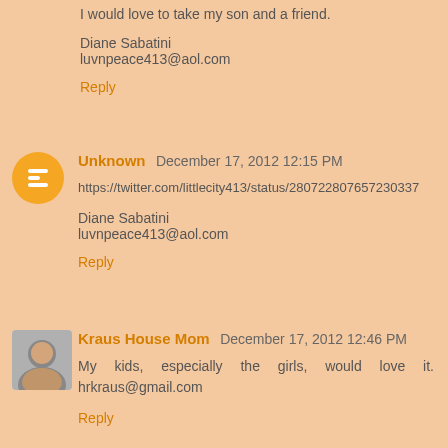I would love to take my son and a friend.
Diane Sabatini
luvnpeace413@aol.com
Reply
Unknown  December 17, 2012 12:15 PM
https://twitter.com/littlecity413/status/280722807657230337
Diane Sabatini
luvnpeace413@aol.com
Reply
Kraus House Mom  December 17, 2012 12:46 PM
My kids, especially the girls, would love it. hrkraus@gmail.com
Reply